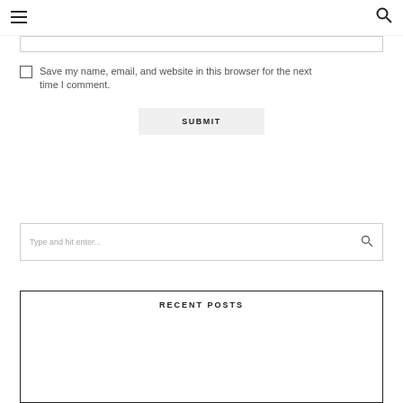☰ [hamburger menu] | [search icon]
[input field / text box]
Save my name, email, and website in this browser for the next time I comment.
SUBMIT
Type and hit enter...
RECENT POSTS